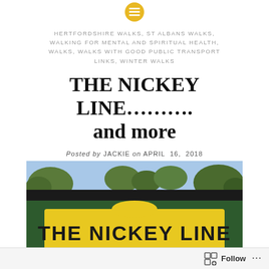[Figure (logo): Orange circle icon with menu/lines symbol at top center]
HERTFORDSHIRE WALKS, ST ALBANS WALKS, WALKING FOR MENTAL AND SPIRITUAL HEALTH, WALKS, WALKS WITH GOOD PUBLIC TRANSPORT LINKS, WINTER WALKS
THE NICKEY LINE……….. and more
Posted by JACKIE on APRIL 16, 2018
[Figure (photo): Photo of a green sign board with a yellow-backed sign reading 'THE NICKEY LINE' in bold black letters on yellow background, with trees and blue sky visible at the top.]